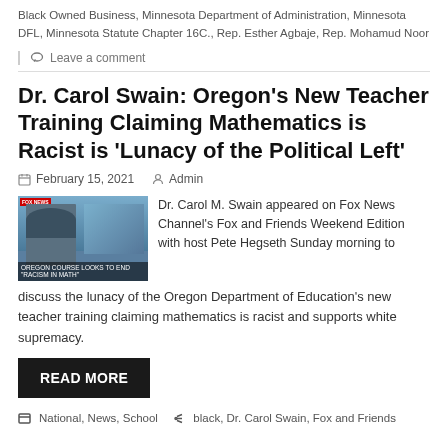Black Owned Business, Minnesota Department of Administration, Minnesota DFL, Minnesota Statute Chapter 16C., Rep. Esther Agbaje, Rep. Mohamud Noor
Leave a comment
Dr. Carol Swain: Oregon's New Teacher Training Claiming Mathematics is Racist is 'Lunacy of the Political Left'
February 15, 2021   Admin
[Figure (photo): Thumbnail image of Dr. Carol Swain on Fox News Channel with chyron overlay]
Dr. Carol M. Swain appeared on Fox News Channel's Fox and Friends Weekend Edition with host Pete Hegseth Sunday morning to discuss the lunacy of the Oregon Department of Education's new teacher training claiming mathematics is racist and supports white supremacy.
READ MORE
National, News, School   black, Dr. Carol Swain, Fox and Friends